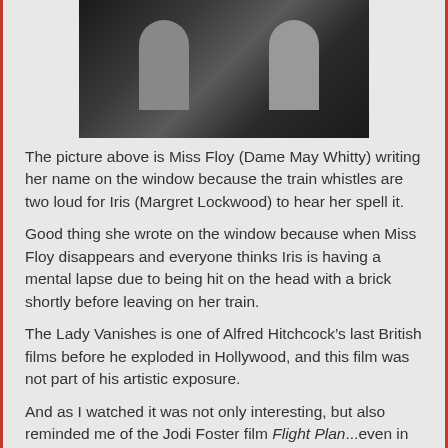[Figure (photo): Black and white still from The Lady Vanishes showing two figures seated at a table, one appearing to write on a window]
The picture above is Miss Floy (Dame May Whitty) writing her name on the window because the train whistles are two loud for Iris (Margret Lockwood) to hear her spell it.
Good thing she wrote on the window because when Miss Floy disappears and everyone thinks Iris is having a mental lapse due to being hit on the head with a brick shortly before leaving on her train.
The Lady Vanishes is one of Alfred Hitchcock’s last British films before he exploded in Hollywood, and this film was not part of his artistic exposure.
And as I watched it was not only interesting, but also reminded me of the Jodi Foster film Flight Plan...even in terms of the writing on the window.